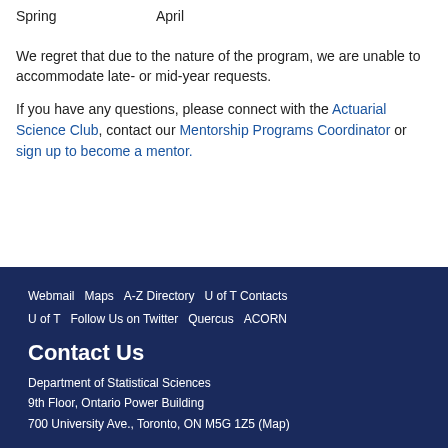| Season | Month |
| --- | --- |
| Spring | April |
We regret that due to the nature of the program, we are unable to accommodate late- or mid-year requests.
If you have any questions, please connect with the Actuarial Science Club, contact our Mentorship Programs Coordinator or sign up to become a mentor.
Webmail  Maps  A-Z Directory  U of T Contacts  U of T  Follow Us on Twitter  Quercus  ACORN
Contact Us
Department of Statistical Sciences
9th Floor, Ontario Power Building
700 University Ave., Toronto, ON M5G 1Z5 (Map)